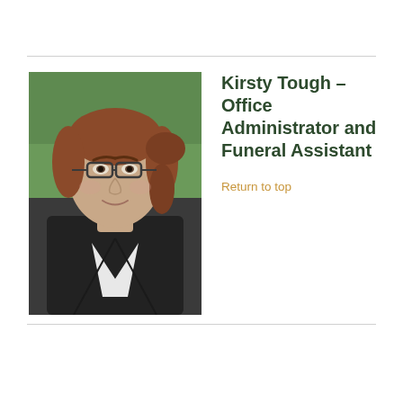[Figure (photo): Portrait photo of Kirsty Tough, a woman with red hair pulled back, wearing glasses and a black blazer over a white top, photographed outdoors with green foliage in the background.]
Kirsty Tough – Office Administrator and Funeral Assistant
Return to top